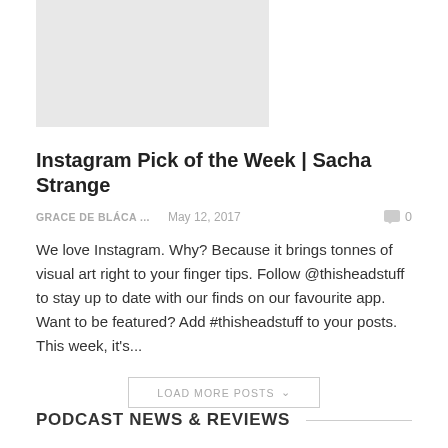[Figure (photo): Gray placeholder image with green bar at top]
Instagram Pick of the Week | Sacha Strange
GRACE DE BLÁCA ...   May 12, 2017   0
We love Instagram. Why? Because it brings tonnes of visual art right to your finger tips. Follow @thisheadstuff to stay up to date with our finds on our favourite app. Want to be featured? Add #thisheadstuff to your posts. This week, it's...
LOAD MORE POSTS
PODCAST NEWS & REVIEWS